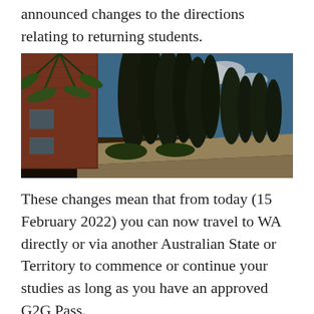announced changes to the directions relating to returning students.
[Figure (photo): Outdoor campus pathway with tall cypress trees, palm tree fronds, red brick building on the left, and blue sky with clouds in the background.]
These changes mean that from today (15 February 2022) you can now travel to WA directly or via another Australian State or Territory to commence or continue your studies as long as you have an approved G2G Pass.
This means that it is now time to start making travel